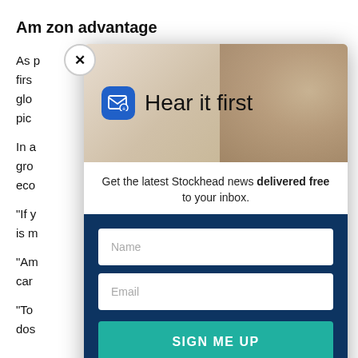Amazon advantage
As p... first... s of glo... pick...
In a... hat gro... the eco...
"If y... on is m... d.
"Am... car...
"To... dos...
[Figure (screenshot): Email newsletter signup modal overlay on top of article text. Modal contains an animal photo background (marmot/groundhog), an email icon, headline 'Hear it first', subtext 'Get the latest Stockhead news delivered free to your inbox.', Name input field, Email input field, and a teal SIGN ME UP button. A close (X) button appears at the top-left of the modal.]